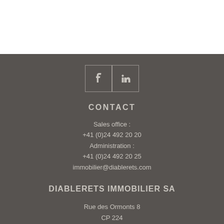[Figure (illustration): Social media icons: Facebook (f) and LinkedIn (in) as outlined boxes]
CONTACT
Sales office :
+41 (0)24 492 20 20
Administration :
+41 (0)24 492 20 25
immobilier@diablerets.com
DIABLERETS IMMOBILIER SA
Rue des Ormonts 8
CP 224
1865 Les Diablerets
SWITZERLAND
© Diablerets Immobilier. All rights reserved.Legal Notice. Conception Virtual Building.